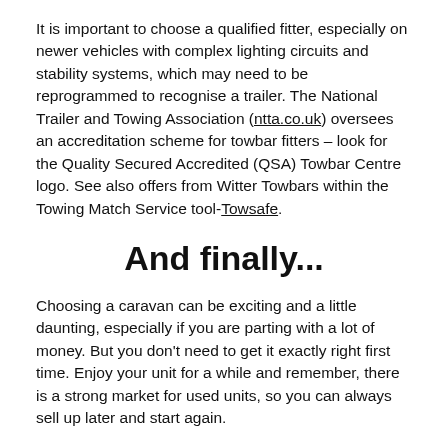It is important to choose a qualified fitter, especially on newer vehicles with complex lighting circuits and stability systems, which may need to be reprogrammed to recognise a trailer. The National Trailer and Towing Association (ntta.co.uk) oversees an accreditation scheme for towbar fitters – look for the Quality Secured Accredited (QSA) Towbar Centre logo. See also offers from Witter Towbars within the Towing Match Service tool- Towsafe.
And finally...
Choosing a caravan can be exciting and a little daunting, especially if you are parting with a lot of money. But you don't need to get it exactly right first time. Enjoy your unit for a while and remember, there is a strong market for used units, so you can always sell up later and start again.